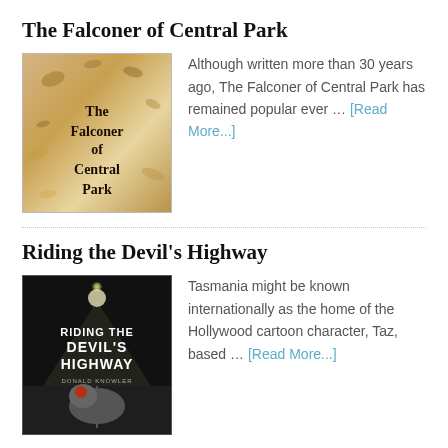The Falconer of Central Park
[Figure (illustration): Book cover of 'The Falconer of Central Park' showing illustrated birds and foliage on a warm golden-brown background with the title text in serif font]
Although written more than 30 years ago, The Falconer of Central Park has remained popular ever … [Read More...]
Riding the Devil's Highway
[Figure (illustration): Book cover of 'Riding the Devil's Highway' by Donald Knowler showing a dark night scene with a Tasmanian devil on a road, with bright headlights in the background]
Tasmania might be known internationally as the home of the Hollywood cartoon character, Taz, based … [Read More...]